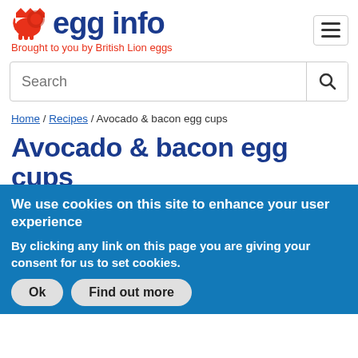egg info — Brought to you by British Lion eggs
Search
Home / Recipes / Avocado & bacon egg cups
Avocado & bacon egg cups
[Figure (photo): Close-up photo of a green bowl/plate with avocado and bacon egg cup dish, with a casserole dish in the background]
We use cookies on this site to enhance your user experience

By clicking any link on this page you are giving your consent for us to set cookies.

Ok   Find out more